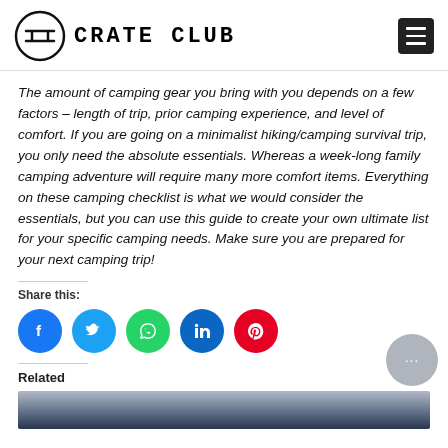CRATE CLUB
The amount of camping gear you bring with you depends on a few factors – length of trip, prior camping experience, and level of comfort. If you are going on a minimalist hiking/camping survival trip, you only need the absolute essentials. Whereas a week-long family camping adventure will require many more comfort items. Everything on these camping checklist is what we would consider the essentials, but you can use this guide to create your own ultimate list for your specific camping needs. Make sure you are prepared for your next camping trip!
Share this:
[Figure (other): Social share icons: Facebook, Twitter, WhatsApp, LinkedIn, Pinterest]
Related